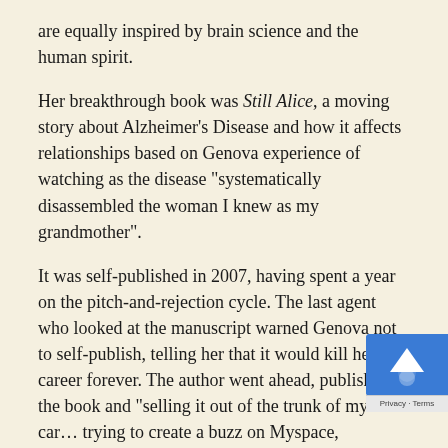are equally inspired by brain science and the human spirit.
Her breakthrough book was Still Alice, a moving story about Alzheimer’s Disease and how it affects relationships based on Genova experience of watching as the disease “systematically disassembled the woman I knew as my grandmother”.
It was self-published in 2007, having spent a year on the pitch-and-rejection cycle. The last agent who looked at the manuscript warned Genova not to self-publish, telling her that it would kill her career forever. The author went ahead, publishing the book and “selling it out of the trunk of my car… trying to create a buzz on Myspace, Goodreads and Shelfari and local book signings.” She invested in a PR agent and Still Alice subsequently sold well and went on to net lucrative publishing rights deals, including a movie starring Julianne Moore.3
At time of writing Genova has published four other novels